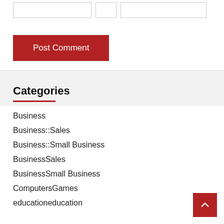[Figure (screenshot): Input fields row at top of page]
Post Comment
Categories
Business
Business::Sales
Business::Small Business
BusinessSales
BusinessSmall Business
ComputersGames
educationeducation